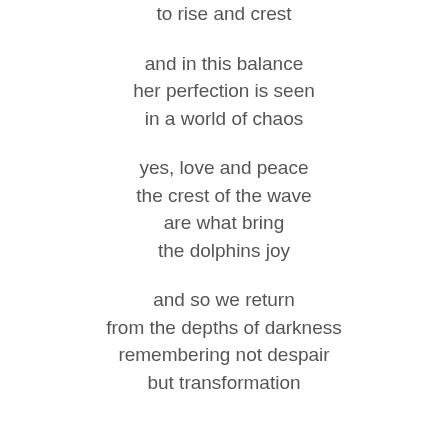to rise and crest

and in this balance
her perfection is seen
in a world of chaos

yes, love and peace
the crest of the wave
are what bring
the dolphins joy

and so we return
from the depths of darkness
remembering not despair
but transformation